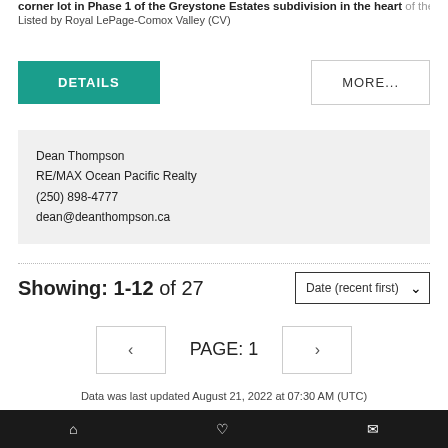corner lot in Phase 1 of the Greystone Estates subdivision in the heart of the
Listed by Royal LePage-Comox Valley (CV)
DETAILS
MORE...
Dean Thompson
RE/MAX Ocean Pacific Realty
(250) 898-4777
dean@deanthompson.ca
Showing: 1-12 of 27
Date (recent first)
PAGE: 1
Data was last updated August 21, 2022 at 07:30 AM (UTC)
MLS® property information is provided under copyright© by the Vancouver Island Real Estate Board and Victoria Real Estate Board. The information is from sources deemed reliable, but should not be relied upon without independent verification.